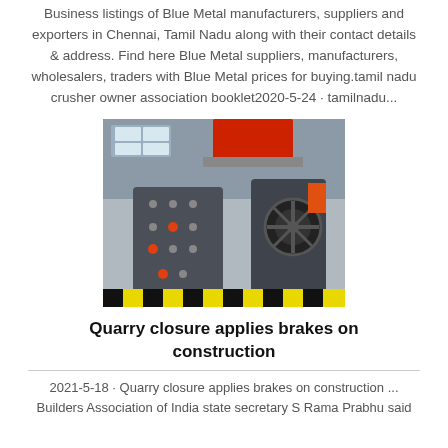Business listings of Blue Metal manufacturers, suppliers and exporters in Chennai, Tamil Nadu along with their contact details & address. Find here Blue Metal suppliers, manufacturers, wholesalers, traders with Blue Metal prices for buying.tamil nadu crusher owner association booklet2020-5-24 · tamilnadu...
[Figure (photo): Industrial stone crusher machine in a factory setting, shown in grey with orange/red accents and mechanical components visible.]
Quarry closure applies brakes on construction
2021-5-18 · Quarry closure applies brakes on construction ... Builders Association of India state secretary S Rama Prabhu said